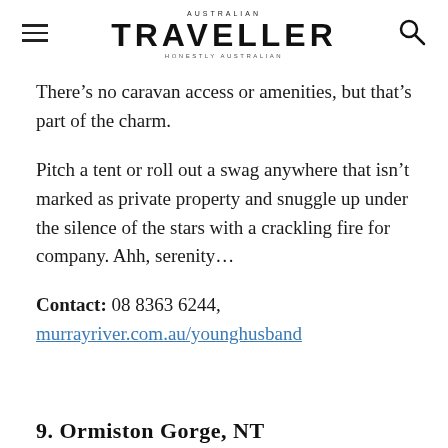AUSTRALIAN TRAVELLER | HONESTLY AUSTRALIAN
There’s no caravan access or amenities, but that’s part of the charm.
Pitch a tent or roll out a swag anywhere that isn’t marked as private property and snuggle up under the silence of the stars with a crackling fire for company. Ahh, serenity…
Contact: 08 8363 6244, murryriver.com.au/younghusband
9. Ormiston Gorge, NT